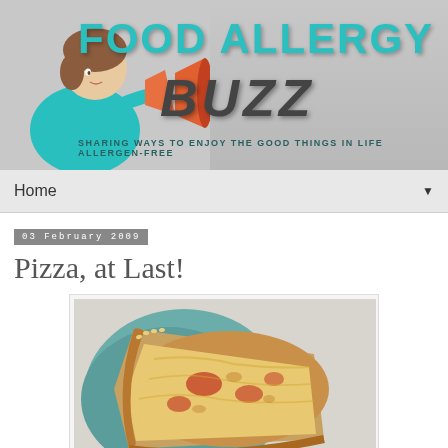[Figure (illustration): Food Allergy Buzz blog header banner with teal/cyan 'FOOD ALLERGY' text, dark italic 'BUZZ' text, cartoon woman with megaphone illustration, tagline 'SHARING WAYS TO ENJOY THE GOOD THINGS IN LIFE ALLERGEN-FREE']
Home
03 February 2009
Pizza, at Last!
[Figure (photo): Photograph of a slice of pizza being held, showing melted cheese and toppings on a golden brown crust, with a teal/blue plate visible in the background]